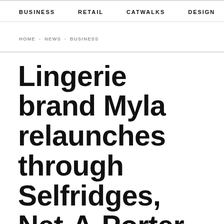BUSINESS   RETAIL   CATWALKS   DESIGN   CAMI  >
HOME › NEWS › BUSINESS
Lingerie brand Myla relaunches through Selfridges, Net-A-Porter, Bergdorf